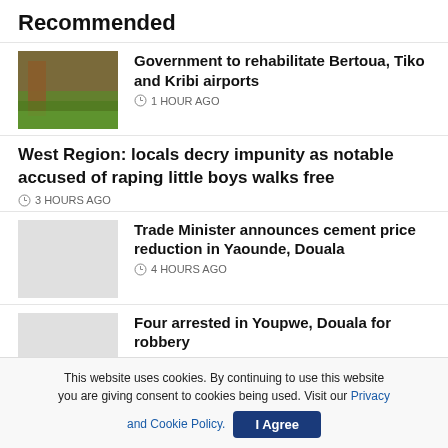Recommended
Government to rehabilitate Bertoua, Tiko and Kribi airports
1 HOUR AGO
West Region: locals decry impunity as notable accused of raping little boys walks free
3 HOURS AGO
Trade Minister announces cement price reduction in Yaounde, Douala
4 HOURS AGO
Four arrested in Youpwe, Douala for robbery
This website uses cookies. By continuing to use this website you are giving consent to cookies being used. Visit our Privacy and Cookie Policy.